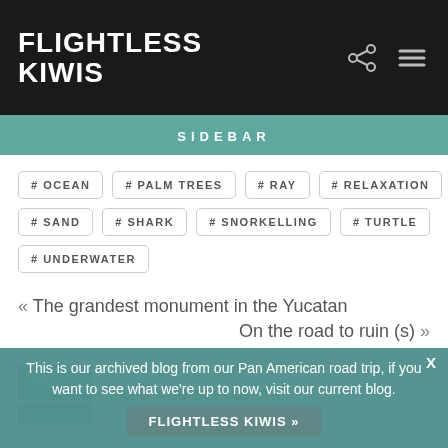FLIGHTLESS KIWIS
SIDEBAR
# OCEAN
# PALM TREES
# RAY
# RELAXATION
# SAND
# SHARK
# SNORKELLING
# TURTLE
# UNDERWATER
« The grandest monument in the Yucatan
On the road to ruin (s) »
FRED AND ELISABETH
This is our archived blog from our Pan American road trip, if you want to see what we're up to now, visit our current blog.
FLIGHTLESS KIWIS »